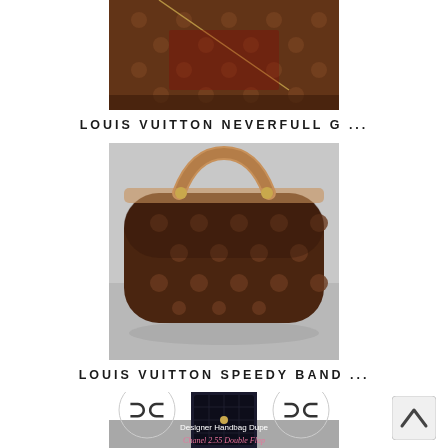[Figure (photo): Louis Vuitton Neverfull bag with monogram canvas pattern, brown with gold chain strap and red lining, partially cropped at top of image]
LOUIS VUITTON NEVERFULL G ...
[Figure (photo): Louis Vuitton Speedy Bandouliere handbag with monogram canvas, tan vachetta leather handles, dark brown background]
LOUIS VUITTON SPEEDY BAND ...
[Figure (photo): Bottom section showing Chanel logos and a black quilted Chanel 2.55 double flap bag with gold hardware, overlaid with text 'Designer Handbag Dupe' and 'Chanel 2.55 Double Flap' in pink script]
[Figure (other): Back to top arrow button (chevron up) on the right side]